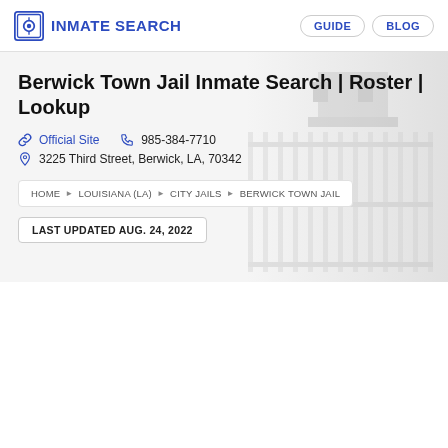INMATE SEARCH | GUIDE | BLOG
Berwick Town Jail Inmate Search | Roster | Lookup
Official Site  985-384-7710
3225 Third Street, Berwick, LA, 70342
HOME ▶ LOUISIANA (LA) ▶ CITY JAILS ▶ BERWICK TOWN JAIL
LAST UPDATED AUG. 24, 2022